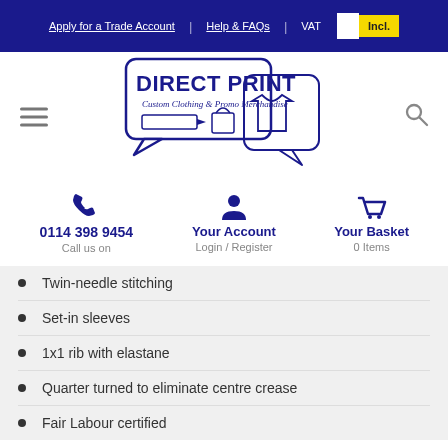Apply for a Trade Account | Help & FAQs | VAT Incl.
[Figure (logo): Direct Print logo — Custom Clothing & Promo Merchandise, with speech bubble and icons of pen, bag, t-shirt]
0114 398 9454
Call us on
Your Account
Login / Register
Your Basket
0 Items
Twin-needle stitching
Set-in sleeves
1x1 rib with elastane
Quarter turned to eliminate centre crease
Fair Labour certified